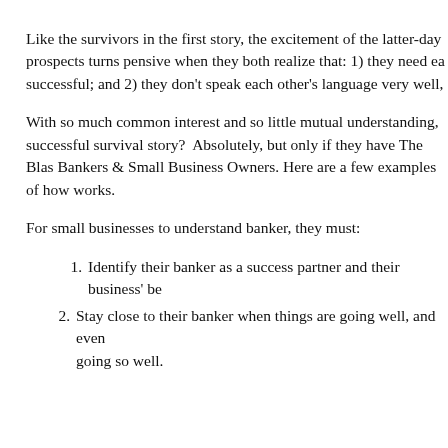Like the survivors in the first story, the excitement of the latter-day prospects turns pensive when they both realize that: 1) they need each other to be successful; and 2) they don't speak each other's language very well,
With so much common interest and so little mutual understanding, can they write a successful survival story?  Absolutely, but only if they have The Blas... Bankers & Small Business Owners. Here are a few examples of how works.
For small businesses to understand banker, they must:
Identify their banker as a success partner and their business' be...
Stay close to their banker when things are going well, and even when not going so well.